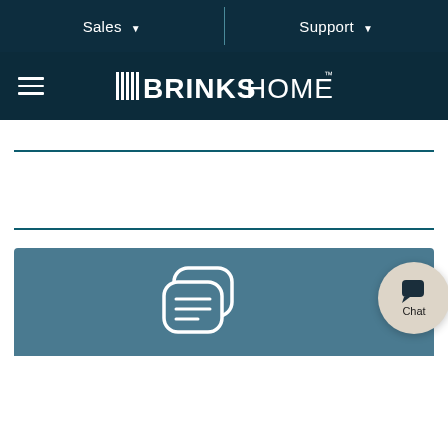Sales  Support
[Figure (logo): Brinks Home logo with hamburger menu icon on dark navy background]
[Figure (illustration): Brinks Home website screenshot showing navigation bar, horizontal divider lines, and a teal panel at the bottom with a chat icon and a circular Chat button]